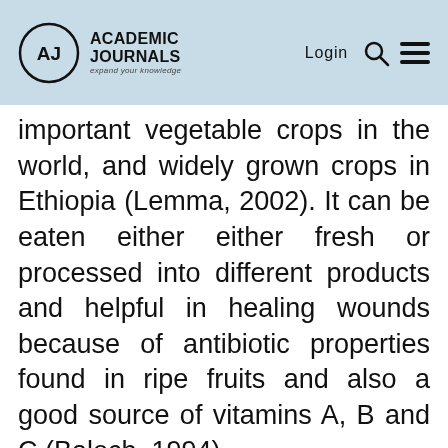ACADEMIC JOURNALS — expand your knowledge | Login
important vegetable crops in the world, and widely grown crops in Ethiopia (Lemma, 2002). It can be eaten either either fresh or processed into different products and helpful in healing wounds because of antibiotic properties found in ripe fruits and also a good source of vitamins A, B and C (Baloch, 1994).
Tomato production faces many problems from several factors which lead to significant yield loss. Among these factors, insect pests are the most important. Tuta absoluta causes a very high level of damage both in terms of quantity and quality to tomato (Garcia-Mari…